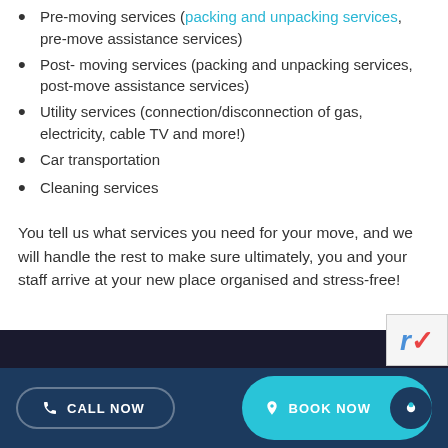Pre-moving services (packing and unpacking services, pre-move assistance services)
Post- moving services (packing and unpacking services, post-move assistance services)
Utility services (connection/disconnection of gas, electricity, cable TV and more!)
Car transportation
Cleaning services
You tell us what services you need for your move, and we will handle the rest to make sure ultimately, you and your staff arrive at your new place organised and stress-free!
[Figure (screenshot): Dark section at the bottom with a Call Now button (dark blue, pill-shaped) and a Book Now button (cyan, pill-shaped with a dark circle icon on the right), forming a mobile website footer navigation bar.]